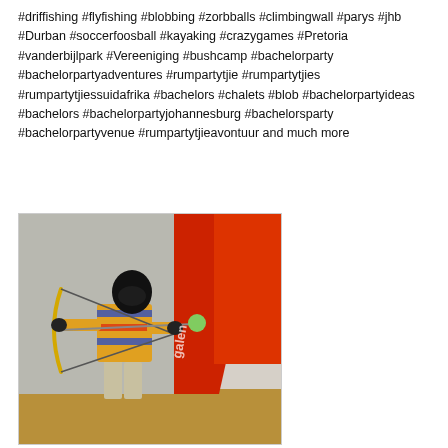#driffishing #flyfishing #blobbing #zorbballs #climbingwall #parys #jhb #Durban #soccerfoosball #kayaking #crazygames #Pretoria #vanderbijlpark #Vereeniging #bushcamp #bachelorparty #bachelorpartyadventures #rumpartytjie #rumpartytjies #rumpartytjiessuidafrika #bachelors #chalets #blob #bachelorpartyideas #bachelors #bachelorpartyjohannesburg #bachelorsparty #bachelorpartyvenue #rumpartytjieavontuur and much more
[Figure (photo): Person wearing a helmet/mask and colorful striped shirt, drawing a bow and arrow with a foam-tipped arrow, standing in front of a red inflatable structure. Activity appears to be archery tag or combat archery at an outdoor venue.]